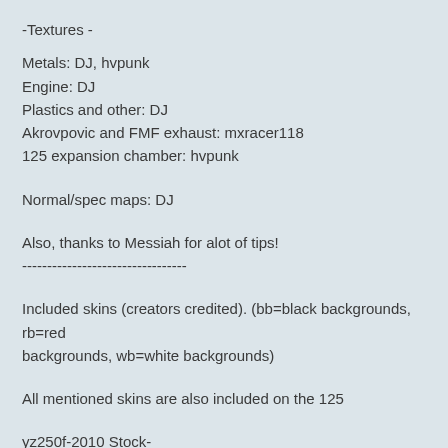-Textures -
Metals: DJ, hvpunk
Engine: DJ
Plastics and other: DJ
Akrovpovic and FMF exhaust: mxracer118
125 expansion chamber: hvpunk
Normal/spec maps: DJ
Also, thanks to Messiah for alot of tips!
---------------------------------
Included skins (creators credited). (bb=black backgrounds, rb=red backgrounds, wb=white backgrounds)
All mentioned skins are also included on the 125
yz250f-2010 Stock-
Blue (goardy)
Blue+bb (goardy)
White (goardy)
White+bb (goardy)